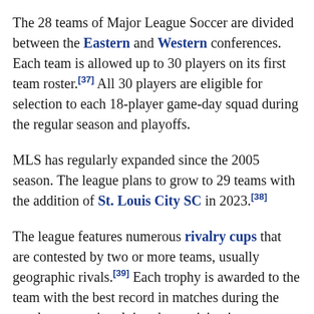The 28 teams of Major League Soccer are divided between the Eastern and Western conferences. Each team is allowed up to 30 players on its first team roster.[37] All 30 players are eligible for selection to each 18-player game-day squad during the regular season and playoffs.
MLS has regularly expanded since the 2005 season. The league plans to grow to 29 teams with the addition of St. Louis City SC in 2023.[38]
The league features numerous rivalry cups that are contested by two or more teams, usually geographic rivals.[39] Each trophy is awarded to the team with the best record in matches during the regular season involving the participating teams. The concept is comparable to rivalry trophies played for by